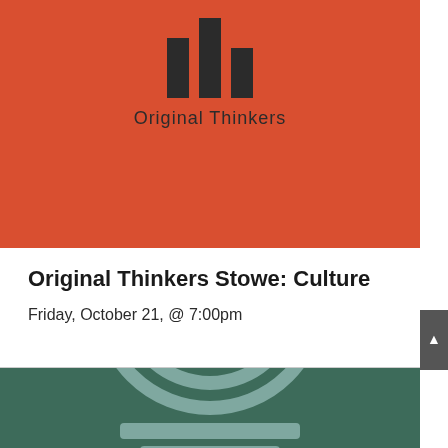[Figure (logo): Original Thinkers logo: three vertical bars of different heights on a red/orange background, with the text 'Original Thinkers' below]
Original Thinkers Stowe: Culture
Friday, October 21, @ 7:00pm
[Figure (illustration): Dark green background with a light blue concentric circles / microphone stand icon (decorative graphic for Original Thinkers culture event)]